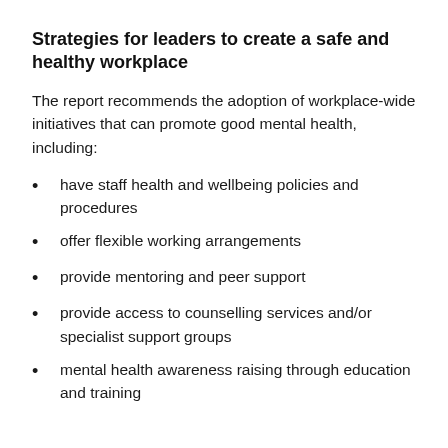Strategies for leaders to create a safe and healthy workplace
The report recommends the adoption of workplace-wide initiatives that can promote good mental health, including:
have staff health and wellbeing policies and procedures
offer flexible working arrangements
provide mentoring and peer support
provide access to counselling services and/or specialist support groups
mental health awareness raising through education and training